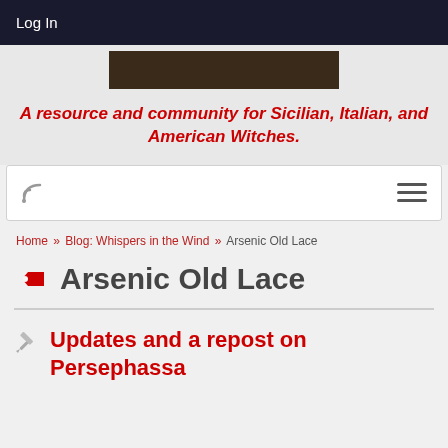Log In
A resource and community for Sicilian, Italian, and American Witches.
[Figure (screenshot): Navigation bar with RSS icon on left and hamburger menu icon on right]
Home » Blog: Whispers in the Wind » Arsenic Old Lace
Arsenic Old Lace
Updates and a repost on Persephassa